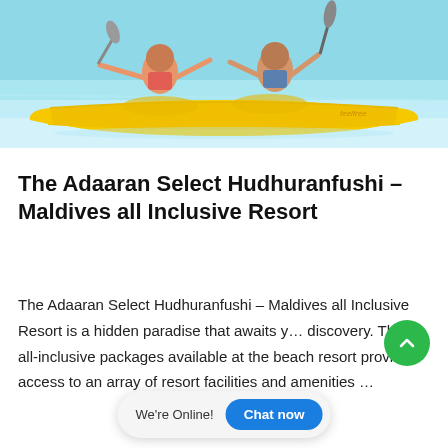[Figure (photo): People kayaking in a yellow tandem kayak on turquoise water; the kayak has 'feelfree' text on the side]
The Adaaran Select Hudhuranfushi – Maldives all Inclusive Resort
The Adaaran Select Hudhuranfushi – Maldives all Inclusive Resort is a hidden paradise that awaits your discovery. The all-inclusive packages available at the beach resort provide access to an array of resort facilities and amenities …